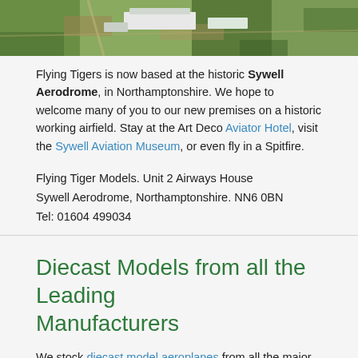[Figure (photo): Aerial photograph of Sywell Aerodrome showing buildings and green fields]
Flying Tigers is now based at the historic Sywell Aerodrome, in Northamptonshire. We hope to welcome many of you to our new premises on a historic working airfield. Stay at the Art Deco Aviator Hotel, visit the Sywell Aviation Museum, or even fly in a Spitfire.
Flying Tiger Models. Unit 2 Airways House
Sywell Aerodrome, Northamptonshire. NN6 0BN
Tel: 01604 499034
Diecast Models from all the Leading Manufacturers
We stock diecast model aeroplanes from all the major